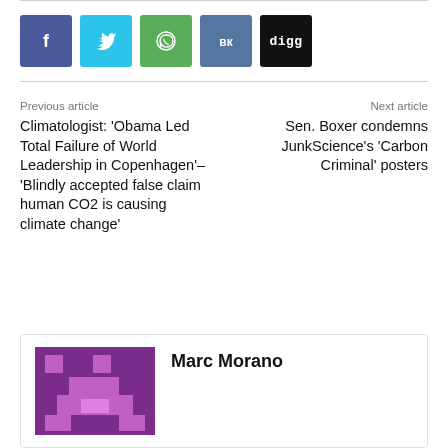[Figure (infographic): Social share buttons: Facebook (blue), Twitter (cyan), WhatsApp (green), VK (slate blue), Digg (black)]
Previous article
Climatologist: ‘Obama Led Total Failure of World Leadership in Copenhagen’– ‘Blindly accepted false claim human CO2 is causing climate change’
Next article
Sen. Boxer condemns JunkScience’s ‘Carbon Criminal’ posters
[Figure (illustration): Pixel-art avatar image in purple tones]
Marc Morano